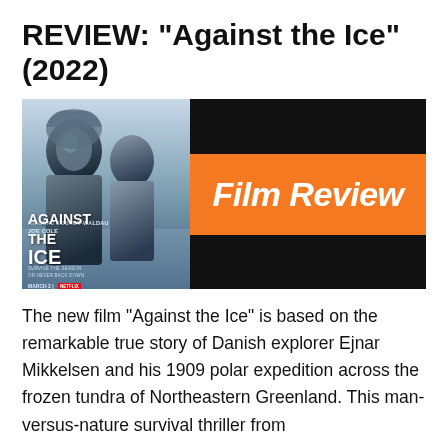REVIEW: “Against the Ice” (2022)
[Figure (photo): Left half: Movie poster for 'Against the Ice' showing two men in winter gear against an icy background, with Netflix branding. Right half: Black panel with an orange banner reading 'Film Review' in bold italic white text.]
The new film “Against the Ice” is based on the remarkable true story of Danish explorer Ejnar Mikkelsen and his 1909 polar expedition across the frozen tundra of Northeastern Greenland. This man-versus-nature survival thriller from